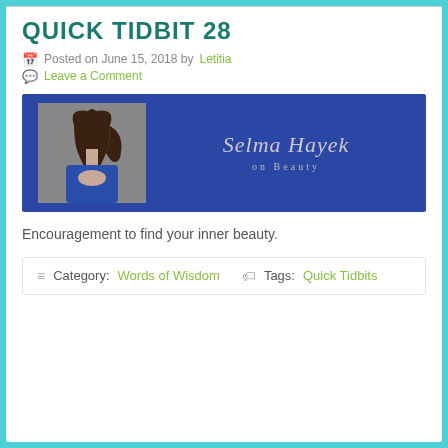QUICK TIDBIT 28
Posted on June 15, 2018 by Letitia
Leave a Comment
[Figure (photo): Banner image with blue background showing a woman with long dark hair wearing blue, and the text 'Selma Hayek on Beauty' in cursive script]
Encouragement to find your inner beauty.
Category: Words of Wisdom   Tags: Quick Tidbits